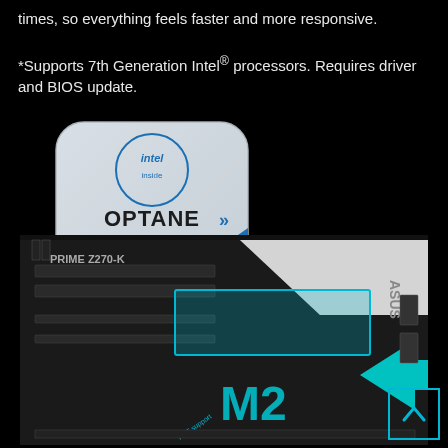times, so everything feels faster and more responsive. *Supports 7th Generation Intel® processors. Requires driver and BIOS update.
[Figure (logo): Intel Optane Memory Ready logo — rounded square badge with Intel inside logo at top, 'OPTANE' in large text with double chevron, 'MEMORY' below, and 'READY' in a blue arc at the bottom right]
[Figure (photo): Close-up photo of the ASUS PRIME Z270-K motherboard showing M.2 slot highlighted with a cyan/turquoise rectangular overlay and a large cyan arrow pointing toward it, with 'M2' text in large cyan characters and 'RST support' label visible]